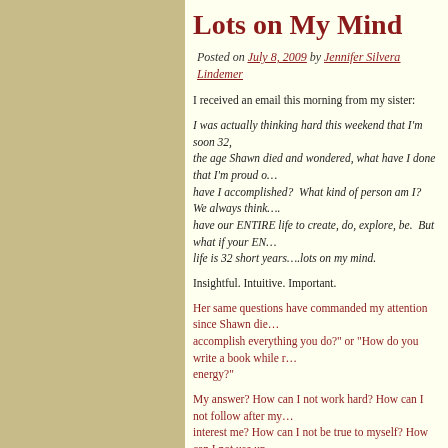Lots on My Mind
Posted on July 8, 2009 by Jennifer Silvera Lindemer
I received an email this morning from my sister:
I was actually thinking hard this weekend that I'm soon 32, the age Shawn died and wondered, what have I done that I'm proud of, what have I accomplished?  What kind of person am I?  We always think… have our ENTIRE life to create, do, explore, be.  But what if your ENTIRE life is 32 short years….lots on my mind.
Insightful. Intuitive. Important.
Her same questions have commanded my attention since Shawn die… accomplish everything you do?" or "How do you write a book while r… energy?"
My answer? How can I not work hard? How can I not follow after my… interest me? How can I not be true to myself? How can I not use up…
This is my one and precious life. This is my one and only chance. I h… live proud with what I have contributed to my children, myself, my wo…
This entry was posted in Jennifer. Bookmark the permalink.